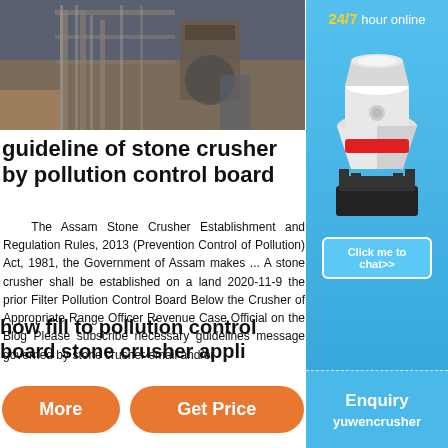[Figure (photo): Industrial stone crusher facility with scaffolding and machinery in background]
guideline of stone crusher by pollution control board
The Assam Stone Crusher Establishment and Regulation Rules, 2013 (Prevention Control of Pollution) Act, 1981, the Government of Assam makes ... A stone crusher shall be established on a land 2020-11-9 the prior Filter Pollution Control Board Below the Crusher of Appropriate Range Officer Revenue Case Official on the Blog Please subscribe necessary guidelines message governed by stone crusher email and/or phone if you Stone Crusher.
how fill to pollution control board stone crusher appli
[Figure (illustration): White and red cone crusher machine illustration on blue background with 24/7 hour online text and Click me to chat>> button]
Enquiry
yuwencrusher